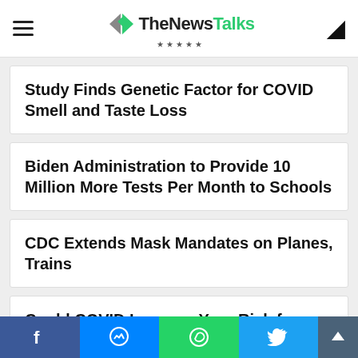TheNewsTalks
Study Finds Genetic Factor for COVID Smell and Taste Loss
Biden Administration to Provide 10 Million More Tests Per Month to Schools
CDC Extends Mask Mandates on Planes, Trains
Could COVID Increase Your Risk for Shingles?
Social share bar: Facebook, Messenger, WhatsApp, Twitter